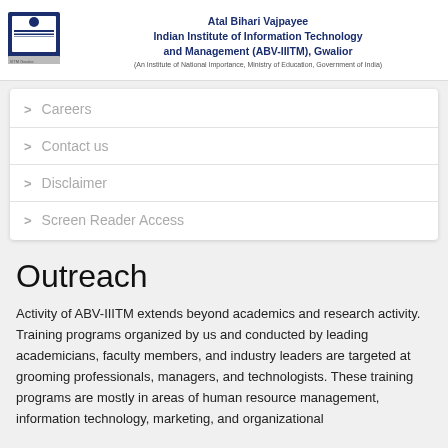Atal Bihari Vajpayee Indian Institute of Information Technology and Management (ABV-IIITM), Gwalior (An Institute of National Importance, Ministry of Education, Government of India)
Careers
Contact us
Disclaimer
Screen Reader Access
Outreach
Activity of ABV-IIITM extends beyond academics and research activity. Training programs organized by us and conducted by leading academicians, faculty members, and industry leaders are targeted at grooming professionals, managers, and technologists. These training programs are mostly in areas of human resource management, information technology, marketing, and organizational